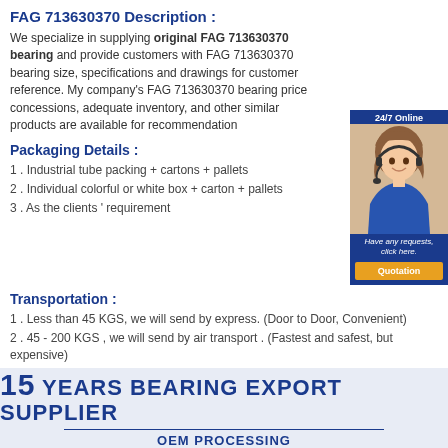FAG 713630370 Description :
We specialize in supplying original FAG 713630370 bearing and provide customers with FAG 713630370 bearing size, specifications and drawings for customer reference. My company's FAG 713630370 bearing price concessions, adequate inventory, and other similar products are available for recommendation
[Figure (photo): Customer service representative with headset, 24/7 Online label, Quotation button]
Packaging Details :
1 . Industrial tube packing + cartons + pallets
2 . Individual colorful or white box + carton + pallets
3 . As the clients ' requirement
Transportation :
1 . Less than 45 KGS, we will send by express. (Door to Door, Convenient)
2 . 45 - 200 KGS , we will send by air transport . (Fastest and safest, but expensive)
3 . More than 200 KGS, we will send by sea . ( Cheapest and common use )
[Figure (infographic): 15 YEARS BEARING EXPORT SUPPLIER banner with OEM PROCESSING subtitle on light blue background]